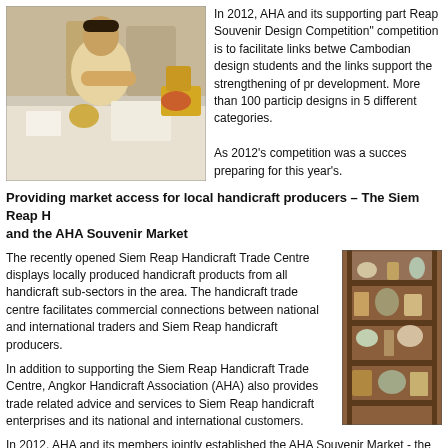[Figure (photo): Person sitting at a table writing or drawing, with handicraft items on the table, indoor setting with other people in background]
In 2012, AHA and its supporting part Reap Souvenir Design Competition" competition is to facilitate links betwe Cambodian design students and the links support the strengthening of pr development. More than 100 particip designs in 5 different categories.

As 2012's competition was a succes preparing for this year's.
Providing market access for local handicraft producers – The Siem Reap H and the AHA Souvenir Market
The recently opened Siem Reap Handicraft Trade Centre displays locally produced handicraft products from all handicraft sub-sectors in the area. The handicraft trade centre facilitates commercial connections between national and international traders and Siem Reap handicraft producers.
[Figure (photo): Interior of a handicraft shop or trade centre showing shelves with handicraft products and wooden display cabinets]
In addition to supporting the Siem Reap Handicraft Trade Centre, Angkor Handicraft Association (AHA) also provides trade related advice and services to Siem Reap handicraft enterprises and its national and international customers.
In 2012, AHA and its members jointly established the AHA Souvenir Market - the first and only Souvenir Market in Cambodia that displays only locally produced handicraft products. The market provides an for local handicraft producers, particularly for producers from rural areas who ha customers.